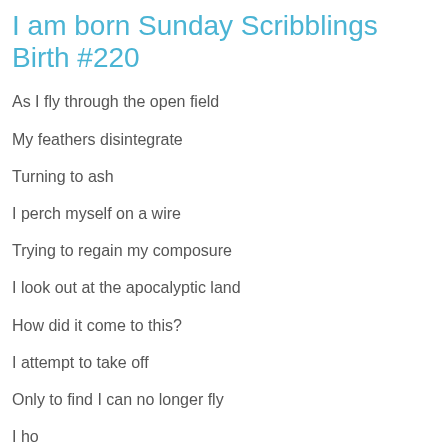I am born Sunday Scribblings Birth #220
As I fly through the open field
My feathers disintegrate
Turning to ash
I perch myself on a wire
Trying to regain my composure
I look out at the apocalyptic land
How did it come to this?
I attempt to take off
Only to find I can no longer fly
I how...